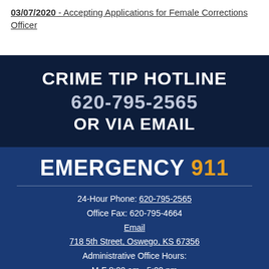03/07/2020 - Accepting Applications for Female Corrections Officer
[Figure (infographic): Dark navy banner: CRIME TIP HOTLINE / 620-795-2565 / OR VIA EMAIL]
[Figure (infographic): Blue banner: EMERGENCY 911, contact info including 24-Hour Phone: 620-795-2565, Office Fax: 620-795-4664, Email, 718 5th Street Oswego KS 67356, Administrative Office Hours: M-F 8:00 am - 5:00 pm, globe and Facebook icons]